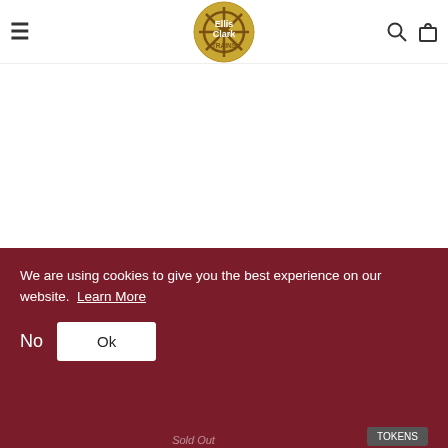Ellis Clark Trains
Heljan OO Gauge Set of 3 IGA Cargowaggon Bogie Boxed
£455.00
We are using cookies to give you the best experience on our website.  Learn More
No  Ok
Sold Out